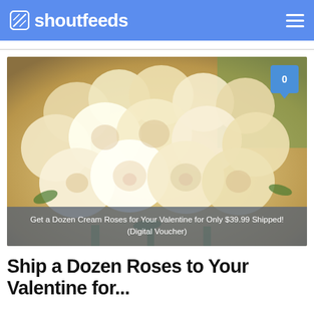shoutfeeds
[Figure (photo): Heart-shaped arrangement of cream/white roses photographed outdoors with a comment badge showing '0' in the top right corner]
Get a Dozen Cream Roses for Your Valentine for Only $39.99 Shipped! (Digital Voucher)
Ship a Dozen Roses to Your Valentine for...